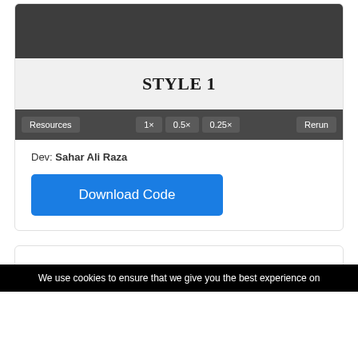[Figure (screenshot): Dark preview area of a style card]
STYLE 1
[Figure (screenshot): Toolbar with buttons: Resources, 1x, 0.5x, 0.25x, Rerun]
Dev: Sahar Ali Raza
Download Code
[Figure (screenshot): Second card partial view]
We use cookies to ensure that we give you the best experience on